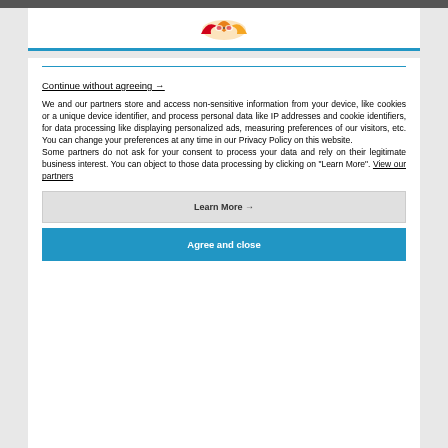[Figure (logo): Website logo with stylized icon in orange/red/yellow colors]
Continue without agreeing →
We and our partners store and access non-sensitive information from your device, like cookies or a unique device identifier, and process personal data like IP addresses and cookie identifiers, for data processing like displaying personalized ads, measuring preferences of our visitors, etc. You can change your preferences at any time in our Privacy Policy on this website.
Some partners do not ask for your consent to process your data and rely on their legitimate business interest. You can object to those data processing by clicking on "Learn More". View our partners
Learn More →
Agree and close